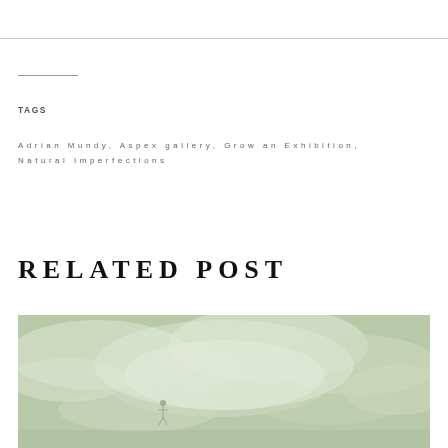TAGS
Adrian Mundy, Aspex gallery, Grow an Exhibition, Natural Imperfections
RELATED POST
[Figure (photo): A muted green-toned sky with clouds, with a small figure or structure visible near the center-bottom of the image.]